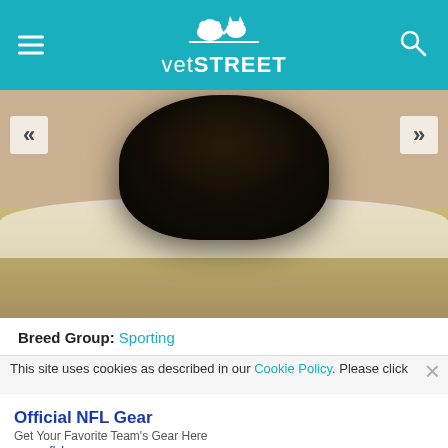vetSTREET
[Figure (photo): Irish Water Spaniel dog partially submerged in water, dark curly fur visible, photographed from above with navigation arrows on left and right sides]
Breed Group: Sporting
Height: 21 to 24 inches at the shoulder
Weight: 45 to 68 pounds
Life Span: 12 to 15 years
View More on Irish Water Spaniel ›
This site uses cookies as described in our Cookie Policy. Please click
Official NFL Gear
Get Your Favorite Team's Gear Here
www.nflshop.com